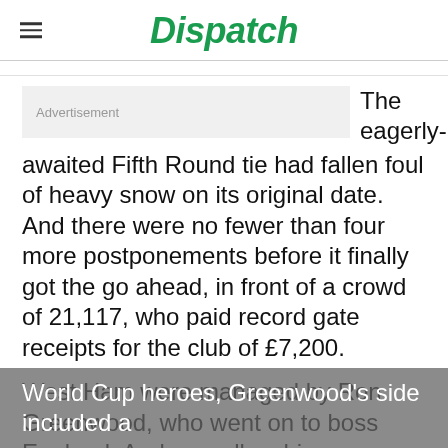Dispatch
The eagerly-awaited Fifth Round tie had fallen foul of heavy snow on its original date. And there were no fewer than four more postponements before it finally got the go ahead, in front of a crowd of 21,117, who paid record gate receipts for the club of £7,200.
West Ham were managed by Ron Greenwood, who went on to boss England. And as well as his World Cup heroes, Greenwood's side included a